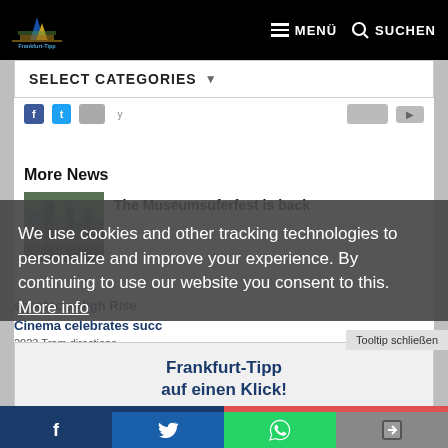Frankfurt-Tipp MENÜ SUCHEN
SELECT CATEGORIES
More News
The Museumsuferfest is back
We use cookies and other tracking technologies to personalize and improve your experience. By continuing to use our website you consent to this. More info
spectacle High Rise Cinema celebrates succ
Tooltip schließen
Frankfurt-Tipp auf einen Klick!
Einfach auf das Symbol tippen und zum Home-Bildschirm hinzufügen.
necessary statistics
allow cookies
allow all!